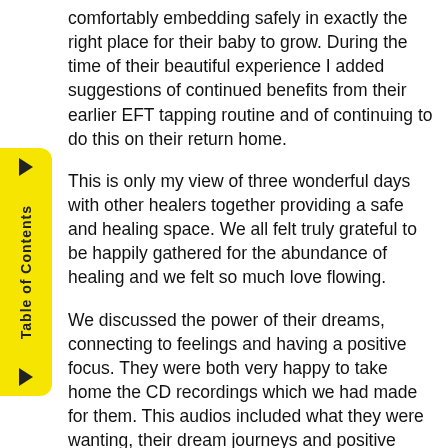comfortably embedding safely in exactly the right place for their baby to grow.  During the time of their beautiful experience I added suggestions of continued benefits from their earlier EFT tapping routine and of continuing to do this on their return home.
This is only my view of three wonderful days with other healers together providing a safe and healing space.  We all felt truly grateful to be happily gathered for the abundance of healing and we felt so much love flowing.
We discussed the power of their dreams, connecting to feelings and having a positive focus.  They were both very happy to take home the CD recordings which we had made for them.  This audios included what they were wanting, their dream journeys and positive tapping along the way.  We heard two months after their visit that their healing and uplifting journey continues to be a support and inspiration to them